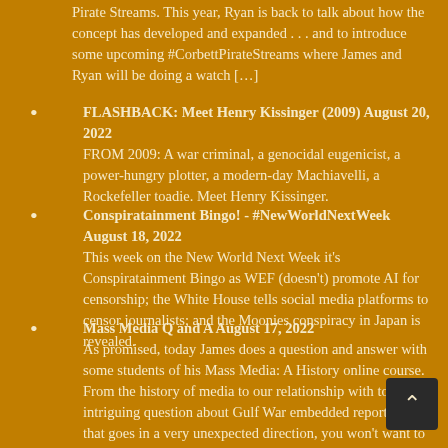Pirate Streams. This year, Ryan is back to talk about how the concept has developed and expanded . . . and to introduce some upcoming #CorbettPirateStreams where James and Ryan will be doing a watch […]
FLASHBACK: Meet Henry Kissinger (2009) August 20, 2022 FROM 2009: A war criminal, a genocidal eugenicist, a power-hungry plotter, a modern-day Machiavelli, a Rockefeller toadie. Meet Henry Kissinger.
Conspiratainment Bingo! - #NewWorldNextWeek August 18, 2022 This week on the New World Next Week it's Conspiratainment Bingo as WEF (doesn't) promote AI for censorship; the White House tells social media platforms to censor journalists; and the Moonies conspiracy in Japan is revealed.
Mass Media Q and A August 17, 2022 As promised, today James does a question and answer with some students of his Mass Media: A History online course. From the history of media to our relationship with to an intriguing question about Gulf War embedded reporting that goes in a very unexpected direction, you won't want to miss this info-packed Q and A.
Delete Your Social Media - #SolutionsWatch August 10, 2022 Even the Big Techers admit it: social media is ripping apart the fabric of our society. So the solution is simple, right? Delete your…